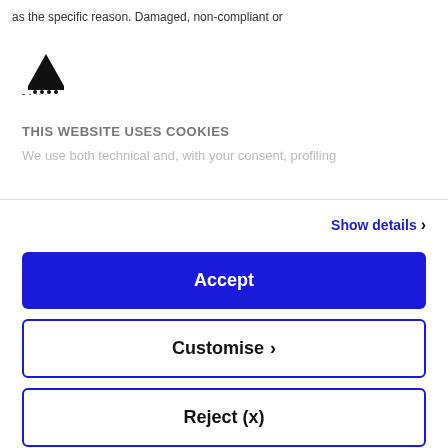as the specific reason. Damaged, non-compliant or
[Figure (logo): Rollerblade brand logo — black shark fin icon with 'Rollerblade' text below]
THIS WEBSITE USES COOKIES
We use both technical and, with your consent, profiling
Show details
Accept
Customise
Reject (x)
Powered by Cookiebot by Usercentrics